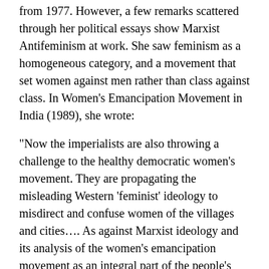from 1977. However, a few remarks scattered through her political essays show Marxist Antifeminism at work. She saw feminism as a homogeneous category, and a movement that set women against men rather than class against class. In Women’s Emancipation Movement in India (1989), she wrote:
“Now the imperialists are also throwing a challenge to the healthy democratic women’s movement. They are propagating the misleading Western ‘feminist’ ideology to misdirect and confuse women of the villages and cities…. As against Marxist ideology and its analysis of the women’s emancipation movement as an integral part of the people’s revolutionary movement and the class struggles of the proletariat, these agencies advocate “party-less” or ‘above party’ ‘feminist’ theories to confuse and disrupt the democratic women’s movement. (103)